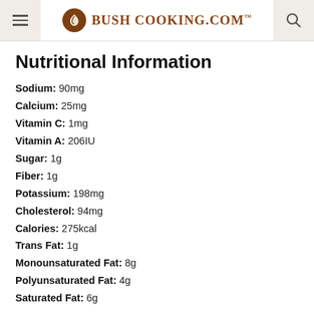Bush Cooking.com
Nutritional Information
Sodium: 90mg
Calcium: 25mg
Vitamin C: 1mg
Vitamin A: 206IU
Sugar: 1g
Fiber: 1g
Potassium: 198mg
Cholesterol: 94mg
Calories: 275kcal
Trans Fat: 1g
Monounsaturated Fat: 8g
Polyunsaturated Fat: 4g
Saturated Fat: 6g